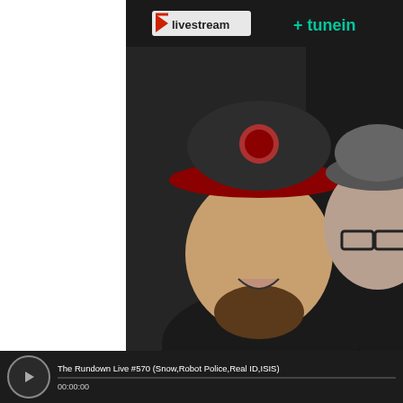[Figure (screenshot): Livestream and TuneIn logos on dark background header bar]
[Figure (photo): Two men facing camera against dark background; left man wearing red-brimmed Milwaukee Brewers cap smiling with beard; right man wearing grey bucket hat and glasses]
[Figure (screenshot): App store badges: Available on the App Store (Apple) and Android App on Google Play, with illustrated lightbulb graphic and TRR circular play button logo]
The Rundown Live #570 (Snow,Robot Police,Real ID,ISIS)
00:00:00